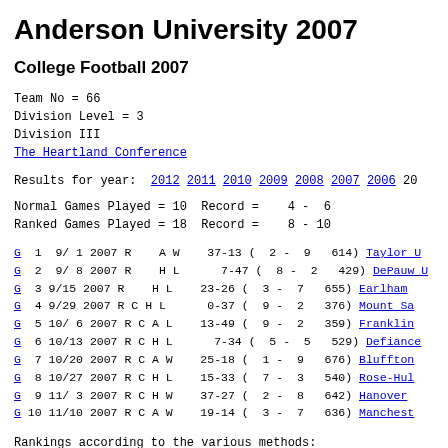Anderson University 2007
College Football 2007
Team No =    66
Division Level =    3
Division III
The Heartland Conference
Results for year:   2012  2011  2010  2009  2008  2007  2006  20...
Normal Games Played =  10  Record =    4 -  6
Ranked Games Played =  18  Record =    8 - 10
| G | # | Date | Year | R | C | H/A | W/L | Score | Record | Att | Opponent |
| --- | --- | --- | --- | --- | --- | --- | --- | --- | --- | --- | --- |
| G | 1 | 9/ 1 | 2007 | R |  | A | W | 37-13 | ( 2 -  9 | 614) | Taylor U |
| G | 2 | 9/ 8 | 2007 | R |  | H | L | 7-47 | ( 8 -  2 | 429) | DePauw U |
| G | 3 | 9/15 | 2007 | R |  | H | L | 23-26 | ( 3 -  7 | 655) | Earlham |
| G | 4 | 9/29 | 2007 | R | C | H | L | 0-37 | ( 9 -  2 | 376) | Mount Sa |
| G | 5 | 10/ 6 | 2007 | R | C | A | L | 13-49 | ( 9 -  2 | 359) | Franklin |
| G | 6 | 10/13 | 2007 | R | C | H | L | 7-34 | ( 5 -  5 | 529) | Defiance |
| G | 7 | 10/20 | 2007 | R | C | A | W | 25-18 | ( 1 -  9 | 676) | Bluffton |
| G | 8 | 10/27 | 2007 | R | C | H | L | 15-33 | ( 7 -  3 | 540) | Rose-Hul |
| G | 9 | 11/ 3 | 2007 | R | C | H | W | 37-27 | ( 2 -  8 | 642) | Hanover |
| G | 10 | 11/10 | 2007 | R | C | A | W | 19-14 | ( 3 -  7 | 636) | Manchest |
Rankings according to the various methods: